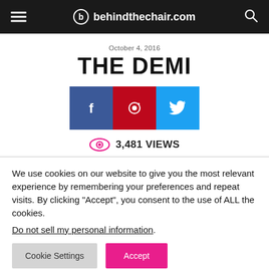behindthechair.com
October 4, 2016
THE DEMI
[Figure (infographic): Social share buttons: Facebook (blue), Pinterest (red), Twitter (light blue)]
3,481 VIEWS
We use cookies on our website to give you the most relevant experience by remembering your preferences and repeat visits. By clicking “Accept”, you consent to the use of ALL the cookies.
Do not sell my personal information.
Cookie Settings  Accept